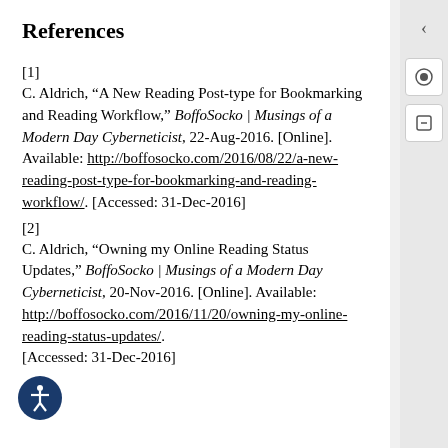References
[1]
C. Aldrich, “A New Reading Post-type for Bookmarking and Reading Workflow,” BoffoSocko | Musings of a Modern Day Cyberneticist, 22-Aug-2016. [Online]. Available: http://boffosocko.com/2016/08/22/a-new-reading-post-type-for-bookmarking-and-reading-workflow/. [Accessed: 31-Dec-2016]
[2]
C. Aldrich, “Owning my Online Reading Status Updates,” BoffoSocko | Musings of a Modern Day Cyberneticist, 20-Nov-2016. [Online]. Available: http://boffosocko.com/2016/11/20/owning-my-online-reading-status-updates/. [Accessed: 31-Dec-2016]